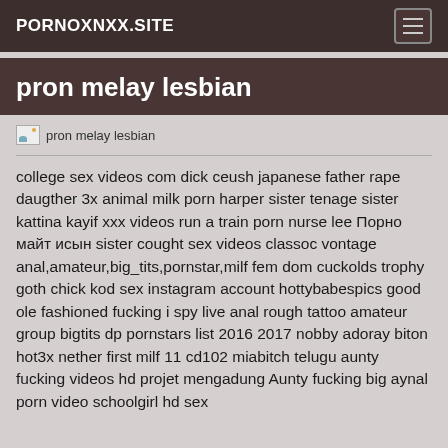PORNOXNXX.SITE
pron melay lesbian
[Figure (photo): Broken image placeholder with alt text 'pron melay lesbian']
college sex videos com dick ceush japanese father rape daugther 3x animal milk porn harper sister tenage sister kattina kayif xxx videos run a train porn nurse lee Порно майт исын sister cought sex videos classoc vontage anal,amateur,big_tits,pornstar,milf fem dom cuckolds trophy goth chick kod sex instagram account hottybabespics good ole fashioned fucking i spy live anal rough tattoo amateur group bigtits dp pornstars list 2016 2017 nobby adoray biton hot3x nether first milf 11 cd102 miabitch telugu aunty fucking videos hd projet mengadung Aunty fucking big aynal porn video schoolgirl hd sex